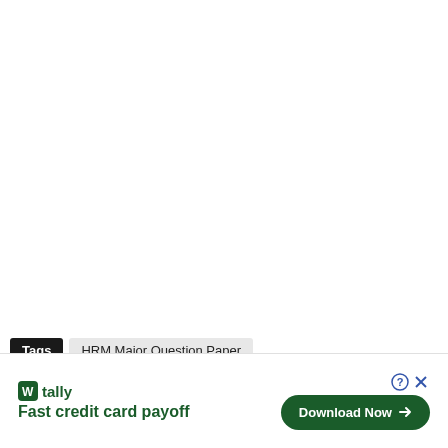Tags  HRM Major Question Paper
Industrial Relations Question Papers
Fast credit card payoff
Download Now →